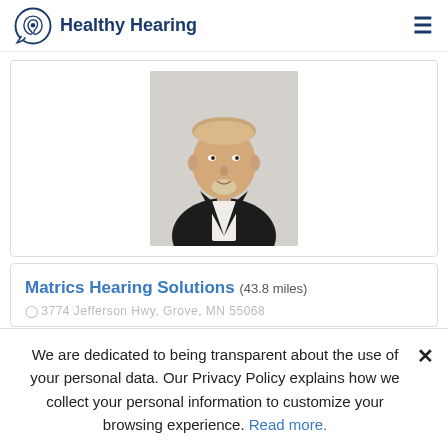Healthy Hearing
[Figure (photo): Professional headshot of a middle-aged man with light hair and a goatee wearing a black blazer and white shirt, against a light grey background]
Matrics Hearing Solutions (43.8 miles)
3774 Jefferson Hwy, Grove, MN 55068
We are dedicated to being transparent about the use of your personal data. Our Privacy Policy explains how we collect your personal information to customize your browsing experience. Read more.